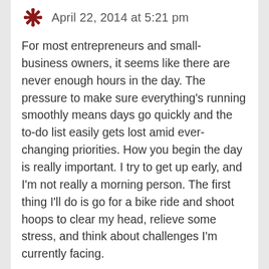April 22, 2014 at 5:21 pm
For most entrepreneurs and small-business owners, it seems like there are never enough hours in the day. The pressure to make sure everything's running smoothly means days go quickly and the to-do list easily gets lost amid ever-changing priorities. How you begin the day is really important. I try to get up early, and I'm not really a morning person. The first thing I'll do is go for a bike ride and shoot hoops to clear my head, relieve some stress, and think about challenges I'm currently facing.